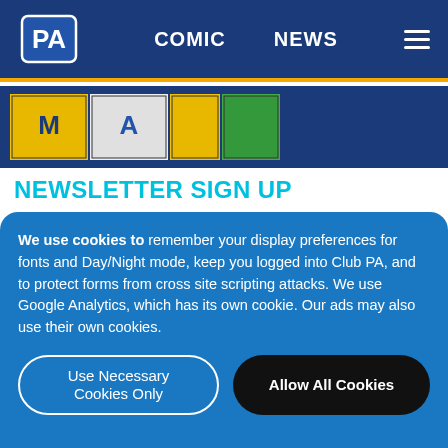PA | COMIC | NEWS
[Figure (illustration): Partial comic strip panels visible at top of page, showing colorful cartoon characters]
NEWSLETTER SIGN UP
Stay up to date on all the comings and goings at Penny Arcade by joining the mailing list. Getting electronic mail is fun! It's like the future, but right
We use cookies to remember your display preferences for fonts and Day/Night mode, keep you logged into Club PA, and to protect forms from cross site scripting attacks. We use Google Analytics, which has its own cookie. Our ads may also use their own cookies.
Use Necessary Cookies Only
Allow All Cookies